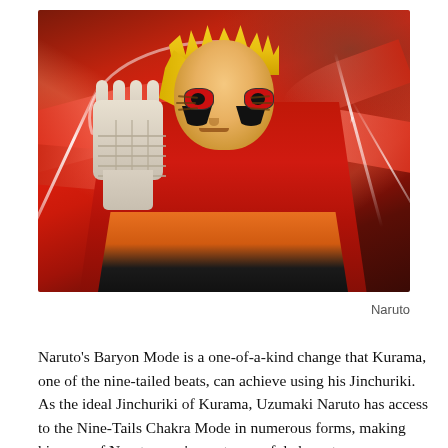[Figure (illustration): Anime illustration of Naruto in Baryon Mode — character wearing red cloak with bandaged hand raised, spiky blonde hair, red eyes with dark markings, surrounded by red swirling energy tails and white energy lines against a dark reddish background.]
Naruto
Naruto's Baryon Mode is a one-of-a-kind change that Kurama, one of the nine-tailed beats, can achieve using his Jinchuriki. As the ideal Jinchuriki of Kurama, Uzumaki Naruto has access to the Nine-Tails Chakra Mode in numerous forms, making him one of Narutoverse's most powerful characters. Throughout his ninja career, Naruto Uzumaki has unlocked a variety of forms and